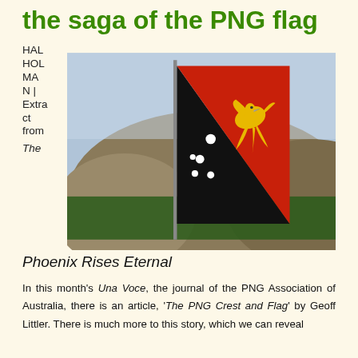the saga of the PNG flag
[Figure (photo): Papua New Guinea flag flying on a pole against a mountainous background with palm trees and sky]
HAL HOLMAN | Extract from The
Phoenix Rises Eternal
In this month's Una Voce, the journal of the PNG Association of Australia, there is an article, 'The PNG Crest and Flag' by Geoff Littler. There is much more to this story, which we can reveal